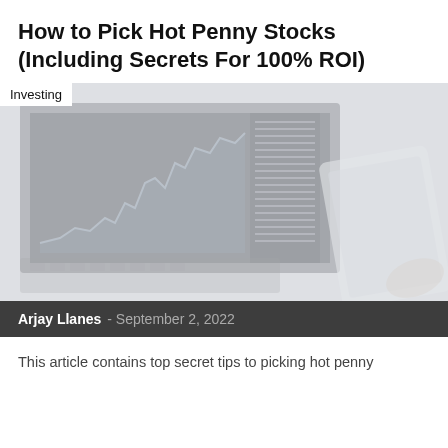How to Pick Hot Penny Stocks (Including Secrets For 100% ROI)
[Figure (photo): A blurred/faded photo of a stock market trading screen showing charts and data, with a smartphone or tablet in the right foreground. The image has a light grayish-white wash overlay. An 'Investing' category label appears in the upper left corner.]
Arjay Llanes - September 2, 2022
This article contains top secret tips to picking hot penny